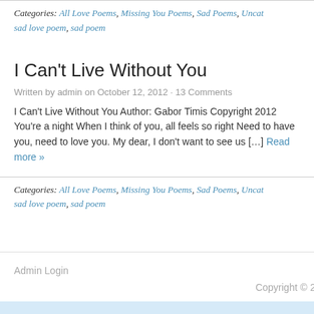Categories: All Love Poems, Missing You Poems, Sad Poems, Uncat… sad love poem, sad poem
I Can't Live Without You
Written by admin on October 12, 2012 · 13 Comments
I Can't Live Without You Author: Gabor Timis Copyright 2012 You're a night When I think of you, all feels so right Need to have you, need to love you. My dear, I don't want to see us […] Read more »
Categories: All Love Poems, Missing You Poems, Sad Poems, Uncat… sad love poem, sad poem
Admin Login    Copyright © 20